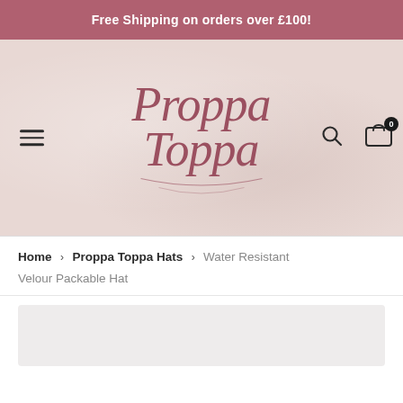Free Shipping on orders over £100!
[Figure (logo): Proppa Toppa cursive script logo in mauve/rose color on a light pink background with hamburger menu, search icon and cart icon with 0 badge]
Home > Proppa Toppa Hats > Water Resistant Velour Packable Hat
[Figure (photo): Product image area, light grey rectangle placeholder]